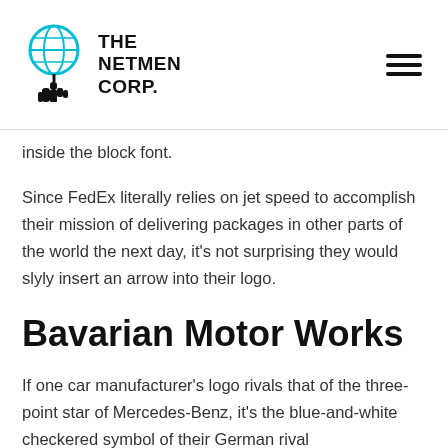THE NETMEN CORP.
inside the block font.
Since FedEx literally relies on jet speed to accomplish their mission of delivering packages in other parts of the world the next day, it's not surprising they would slyly insert an arrow into their logo.
Bavarian Motor Works
If one car manufacturer's logo rivals that of the three-point star of Mercedes-Benz, it's the blue-and-white checkered symbol of their German rival